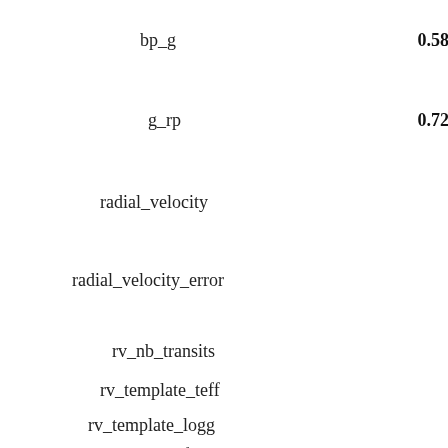bp_g    0.583
g_rp    0.727
radial_velocity
radial_velocity_error
rv_nb_transits
rv_template_teff
rv_template_logg
rv_template_fe_h